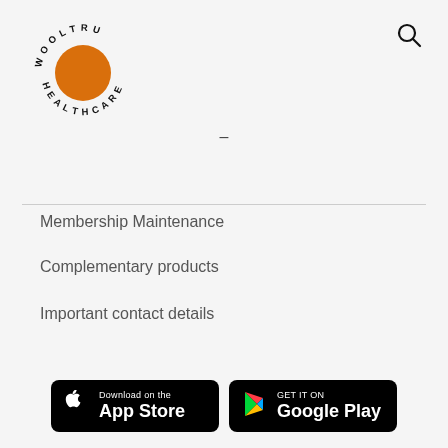[Figure (logo): Wooltru Healthcare circular logo with orange circle and text around it]
Membership Maintenance
Complementary products
Important contact details
[Figure (illustration): Download on the App Store badge (Apple)]
[Figure (illustration): GET IT ON Google Play badge]